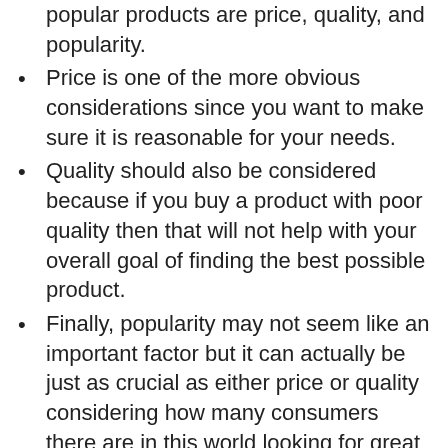popular products are price, quality, and popularity.
Price is one of the more obvious considerations since you want to make sure it is reasonable for your needs.
Quality should also be considered because if you buy a product with poor quality then that will not help with your overall goal of finding the best possible product.
Finally, popularity may not seem like an important factor but it can actually be just as crucial as either price or quality considering how many consumers there are in this world looking for great deals on amazing products!